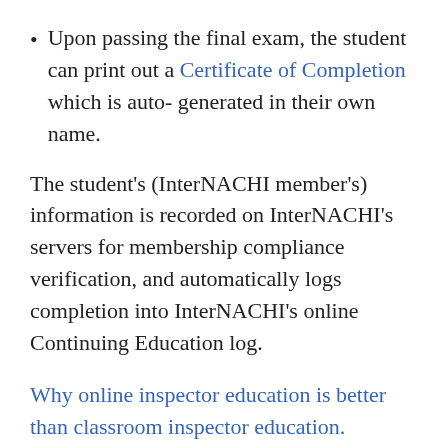Upon passing the final exam, the student can print out a Certificate of Completion which is auto- generated in their own name.
The student's (InterNACHI member's) information is recorded on InterNACHI's servers for membership compliance verification, and automatically logs completion into InterNACHI's online Continuing Education log.
Why online inspector education is better than classroom inspector education.